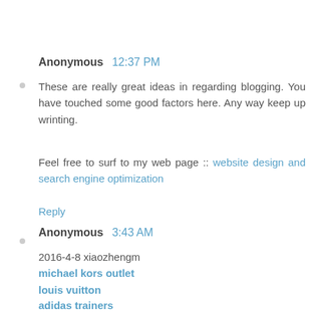Anonymous  12:37 PM
These are really great ideas in regarding blogging. You have touched some good factors here. Any way keep up wrinting.
Feel free to surf to my web page :: website design and search engine optimization
Reply
Anonymous  3:43 AM
2016-4-8 xiaozhengm
michael kors outlet
louis vuitton
adidas trainers
fitflops
cheap jordans
coach outlet online